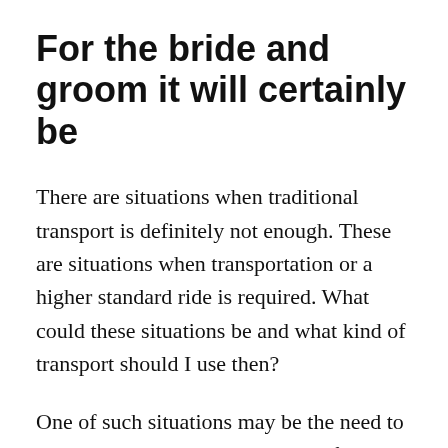For the bride and groom it will certainly be
There are situations when traditional transport is definitely not enough. These are situations when transportation or a higher standard ride is required. What could these situations be and what kind of transport should I use then?
One of such situations may be the need to transport an important guest, e.g. from airports. This is a common business situation. Ordering a regular taxi then may be tactless. The solution is